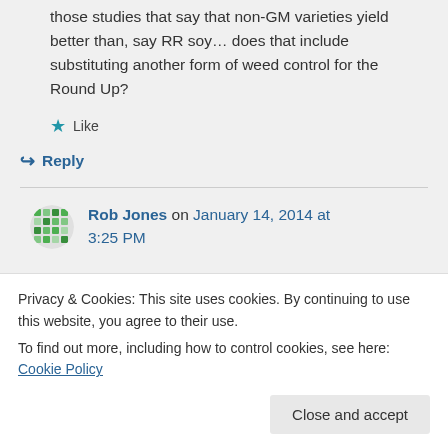those studies that say that non-GM varieties yield better than, say RR soy… does that include substituting another form of weed control for the Round Up?
★ Like
↪ Reply
Rob Jones on January 14, 2014 at 3:25 PM
Privacy & Cookies: This site uses cookies. By continuing to use this website, you agree to their use.
To find out more, including how to control cookies, see here: Cookie Policy
Close and accept
to agree that the first wave of GE